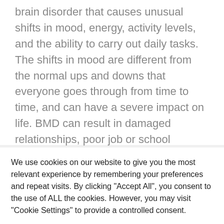brain disorder that causes unusual shifts in mood, energy, activity levels, and the ability to carry out daily tasks. The shifts in mood are different from the normal ups and downs that everyone goes through from time to time, and can have a severe impact on life. BMD can result in damaged relationships, poor job or school performance, and even suicide. The good news is that BMD can be
We use cookies on our website to give you the most relevant experience by remembering your preferences and repeat visits. By clicking "Accept All", you consent to the use of ALL the cookies. However, you may visit "Cookie Settings" to provide a controlled consent.